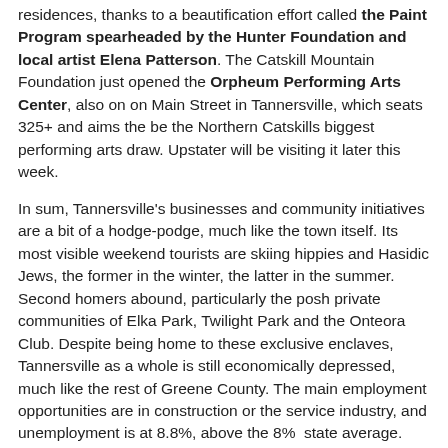residences, thanks to a beautification effort called the Paint Program spearheaded by the Hunter Foundation and local artist Elena Patterson. The Catskill Mountain Foundation just opened the Orpheum Performing Arts Center, also on on Main Street in Tannersville, which seats 325+ and aims the be the Northern Catskills biggest performing arts draw. Upstater will be visiting it later this week.
In sum, Tannersville's businesses and community initiatives are a bit of a hodge-podge, much like the town itself. Its most visible weekend tourists are skiing hippies and Hasidic Jews, the former in the winter, the latter in the summer. Second homers abound, particularly the posh private communities of Elka Park, Twilight Park and the Onteora Club. Despite being home to these exclusive enclaves, Tannersville as a whole is still economically depressed, much like the rest of Greene County. The main employment opportunities are in construction or the service industry, and unemployment is at 8.8%, above the 8%  state average. The median home price before the 2009 downtun was $254, 491, but now it's closer to $200, 000. For these and more stats, click here.